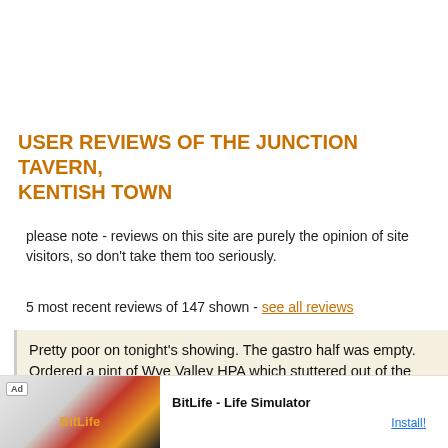USER REVIEWS OF THE JUNCTION TAVERN, KENTISH TOWN
please note - reviews on this site are purely the opinion of site visitors, so don't take them too seriously.
5 most recent reviews of 147 shown - see all reviews
Pretty poor on tonight's showing. The gastro half was empty. Ordered a pint of Wye Valley HPA which stuttered out of the pump - to be told "it's supposed to be like that" by a slip of a girl behind the bar who is unlikely to know the Wye Valley from San Fernando Valley. It isn't a bad building as a p... background... ere later
[Figure (screenshot): Advertisement banner for BitLife - Life Simulator app with ad badge and Install button]